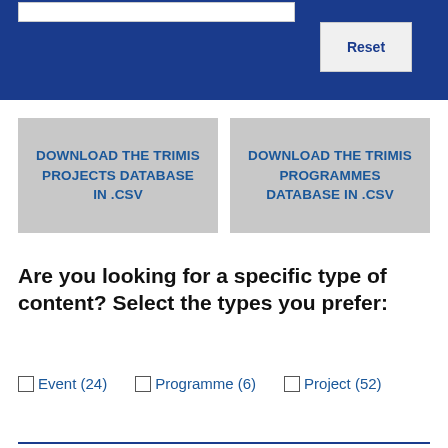[Figure (screenshot): Blue navigation bar with a search input field and a Reset button]
DOWNLOAD THE TRIMIS PROJECTS DATABASE IN .CSV
DOWNLOAD THE TRIMIS PROGRAMMES DATABASE IN .CSV
Are you looking for a specific type of content? Select the types you prefer:
Event (24)
Programme (6)
Project (52)